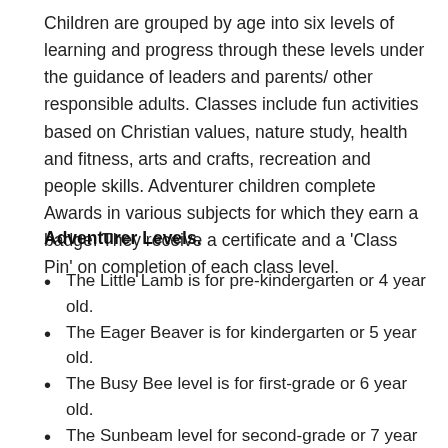Children are grouped by age into six levels of learning and progress through these levels under the guidance of leaders and parents/ other responsible adults. Classes include fun activities based on Christian values, nature study, health and fitness, arts and crafts, recreation and people skills. Adventurer children complete Awards in various subjects for which they earn a badge. They receive a certificate and a 'Class Pin' on completion of each class level.
Adventurer Levels.
The Little Lamb is for pre-kindergarten or 4 year old.
The Eager Beaver is for kindergarten or 5 year old.
The Busy Bee level is for first-grade or 6 year old.
The Sunbeam level for second-grade or 7 year old.
The Builder for third-grade or 8 year old.